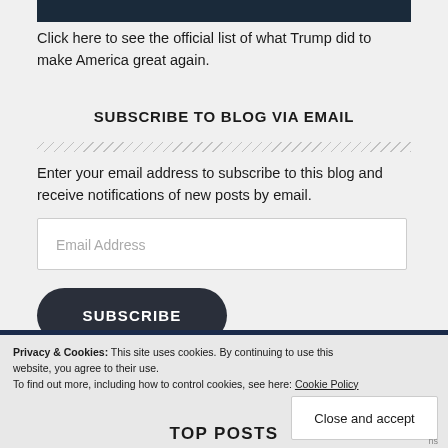[Figure (screenshot): Dark navy image bar at the top of the content area]
Click here to see the official list of what Trump did to make America great again.
SUBSCRIBE TO BLOG VIA EMAIL
Enter your email address to subscribe to this blog and receive notifications of new posts by email.
Email Address
SUBSCRIBE
Privacy & Cookies: This site uses cookies. By continuing to use this website, you agree to their use.
To find out more, including how to control cookies, see here: Cookie Policy
Close and accept
TOP POSTS